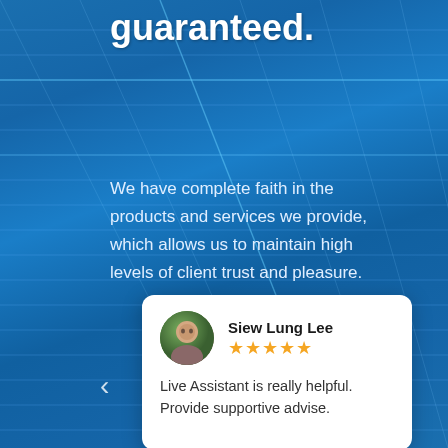guaranteed.
We have complete faith in the products and services we provide, which allows us to maintain high levels of client trust and pleasure.
[Figure (other): Customer review card with avatar photo, reviewer name 'Siew Lung Lee', 5-star rating, and review text 'Live Assistant is really helpful. Provide supportive advise.']